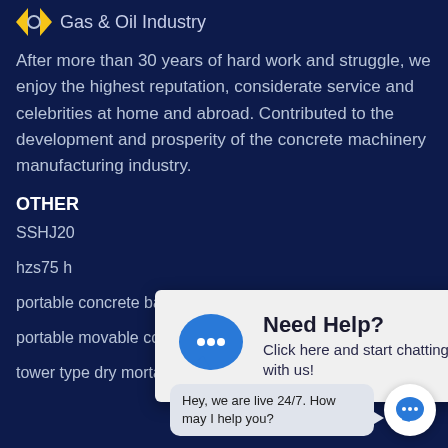Gas & Oil Industry
After more than 30 years of hard work and struggle, we enjoy the highest reputation, considerate service and celebrities at home and abroad. Contributed to the development and prosperity of the concrete machinery manufacturing industry.
OTHER
SSHJ20
hzs75 h
portable concrete batching plant for sale
portable movable concrete
tower type dry mortar powder mixing machine
[Figure (screenshot): Chat popup overlay with blue speech bubble icon, heading 'Need Help?', and text 'Click here and start chatting with us!']
[Figure (screenshot): Bottom-right chat widget with speech bubble saying 'Hey, we are live 24/7. How may I help you?' and a round blue chat button]